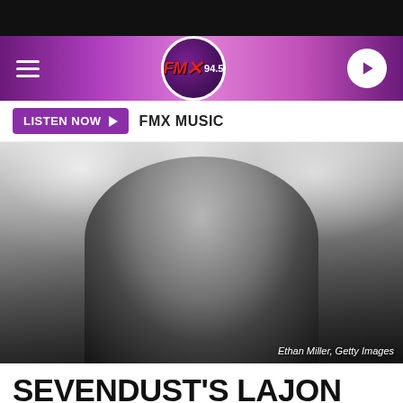FMX 94.5
LISTEN NOW  FMX MUSIC
[Figure (photo): Black and white concert photograph of Lajon Witherspoon of Sevendust, holding a microphone, with dreadlocks and a sleeveless denim jacket, tattoos visible on arms, performing on stage with stage lights in background. Credit: Ethan Miller, Getty Images]
Ethan Miller, Getty Images
SEVENDUST'S LAJON